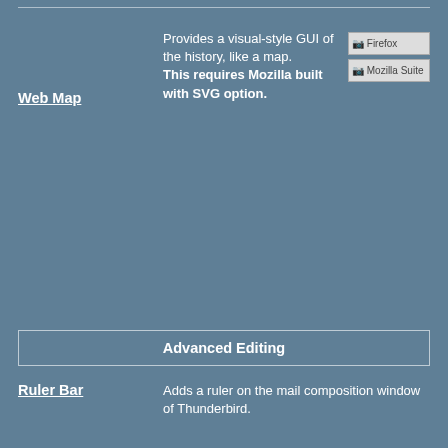Web Map — Provides a visual-style GUI of the history, like a map. This requires Mozilla built with SVG option. [Firefox] [Mozilla Suite]
Advanced Editing
Ruler Bar — Adds a ruler on the mail composition window of Thunderbird.
Advance the Context Menu (Right-Click Menu)
ContextMenu Extensions — Adds launcher of external applications, search engines, user-defined scripts, and [Firefox]